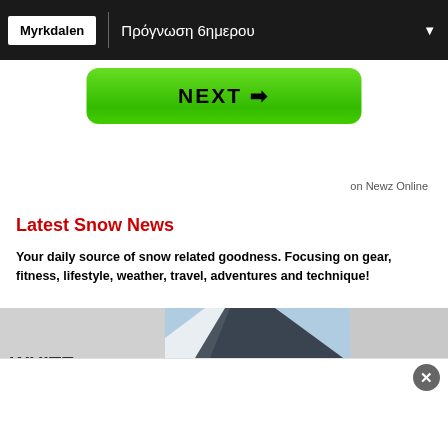Myrkdalen | Πρόγνωση 6ημερου
[Figure (screenshot): Green NEXT button with arrow]
on Newz Online
Latest Snow News
Your daily source of snow related goodness. Focusing on gear, fitness, lifestyle, weather, travel, adventures and technique!
[Figure (illustration): White Room logo card on snowy background]
[Figure (photo): Aerial mountain photo with snow and rocky terrain]
[Figure (illustration): White Room logo card on light background]